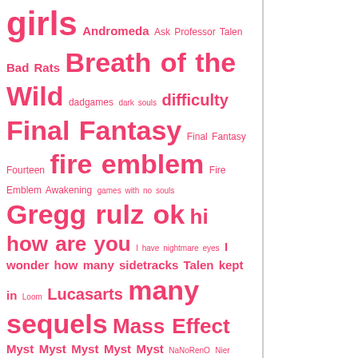[Figure (other): Tag cloud in hot pink/red color featuring various gaming-related tags in different font sizes indicating frequency. Tags include: girls, Andromeda, Ask Professor Talen, Bad Rats, Breath of the Wild, dadgames, dark souls, difficulty, Final Fantasy, Final Fantasy Fourteen, fire emblem, Fire Emblem Awakening, games with no souls, Gregg rulz ok, hi how are you, I have nightmare eyes, I wonder how many sidetracks Talen kept in, Loom, Lucasarts, many sequels, Mass Effect, Myst (x5), NaNoRenO, Nier, Night in the woods, No seriously send Fox and Jeb questions for Talen, old news, Prey, Really did you expect us not to bring up Fire Emblem, Star Ocean, States and the smashing thereof, subligaaaar, Talen sells out, Tales of that five nights at freddie's guy is too nice that jerk, Torment, Ubisoft, Velvet Crow, Thinks of Nothing But Murder, Visual Novels, wario, wolves can't teleport, Zelda]